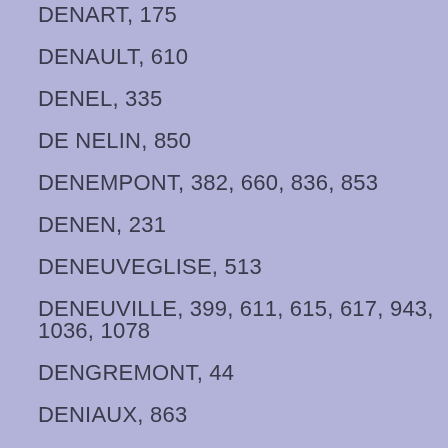DENART, 175
DENAULT, 610
DENEL, 335
DE NELIN, 850
DENEMPONT, 382, 660, 836, 853
DENEN, 231
DENEUVEGLISE, 513
DENEUVILLE, 399, 611, 615, 617, 943, 1036, 1078
DENGREMONT, 44
DENIAUX, 863
DENIBAS, 1150
DENIEPPE, 911
DENIER, 1085